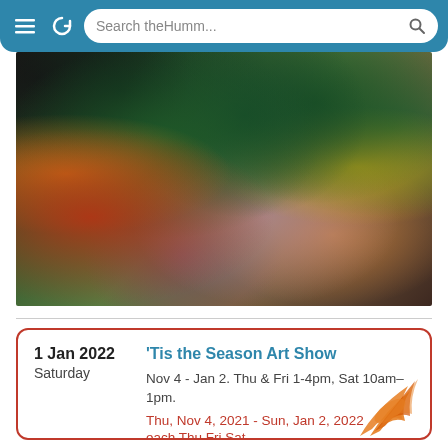Search theHumm...
[Figure (photo): Abstract colorful artwork with green, orange, red, pink and yellow fluid paint patterns on dark background]
[Figure (illustration): Partial view of an orange illustrated bird/fish design at bottom right]
1 Jan 2022
Saturday
'Tis the Season Art Show
Nov 4 - Jan 2. Thu & Fri 1-4pm, Sat 10am–1pm.
Thu, Nov 4, 2021 - Sun, Jan 2, 2022
each Thu Fri Sat
Kanata Civic Art Gallery - Kanata